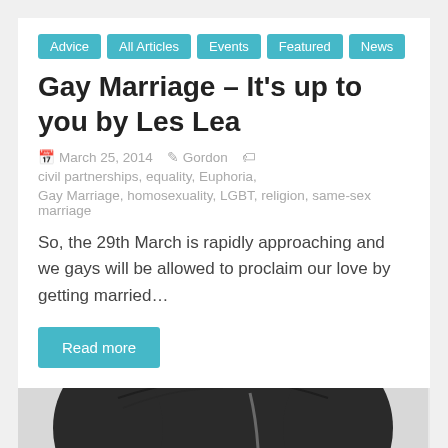Advice
All Articles
Events
Featured
News
Gay Marriage – It's up to you by Les Lea
March 25, 2014   Gordon   civil partnerships, equality, Euphoria, Gay Marriage, homosexuality, LGBT, religion, same-sex marriage
So, the 29th March is rapidly approaching and we gays will be allowed to proclaim our love by getting married…
Read more
[Figure (photo): Top of a person's head with dark combed hair, black and white / grayscale photograph cropped to show only the top portion of the head]